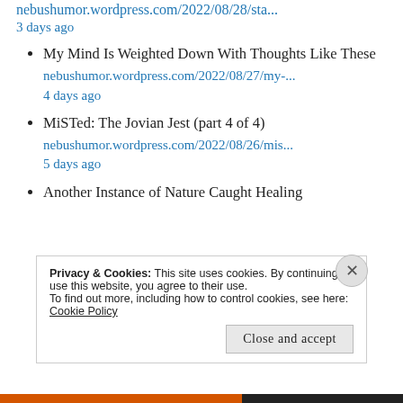nebushumor.wordpress.com/2022/08/28/sta...
3 days ago
My Mind Is Weighted Down With Thoughts Like These
nebushumor.wordpress.com/2022/08/27/my-...
4 days ago
MiSTed: The Jovian Jest (part 4 of 4)
nebushumor.wordpress.com/2022/08/26/mis...
5 days ago
Another Instance of Nature Caught Healing
Privacy & Cookies: This site uses cookies. By continuing to use this website, you agree to their use.
To find out more, including how to control cookies, see here: Cookie Policy
Close and accept